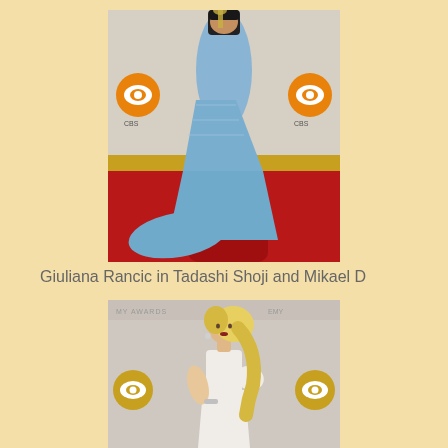[Figure (photo): Giuliana Rancic on a red carpet at the Emmy Awards wearing a light blue mermaid-style gown with floral detailing, CBS logos visible on the backdrop]
Giuliana Rancic in Tadashi Shoji and Mikael D
[Figure (photo): Blonde woman in a white short-sleeve draped dress posing on the Emmy Awards red carpet, CBS logos visible in the background]